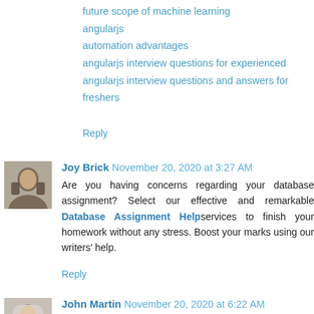future scope of machine learning
angularjs
automation advantages
angularjs interview questions for experienced
angularjs interview questions and answers for freshers
Reply
Joy Brick  November 20, 2020 at 3:27 AM
Are you having concerns regarding your database assignment? Select our effective and remarkable Database Assignment Help services to finish your homework without any stress. Boost your marks using our writers' help.
Reply
John Martin  November 20, 2020 at 6:22 AM
Your blog is so superb, fantastic and fabulous.Thanks for sharing with us such a informative content.